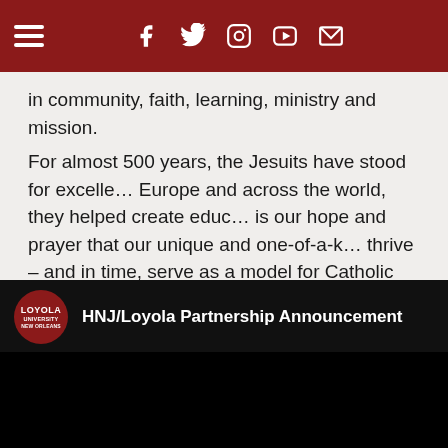Navigation bar with hamburger menu, Facebook, Twitter, Instagram, YouTube, and email icons
in community, faith, learning, ministry and mission.
For almost 500 years, the Jesuits have stood for excellence. In Europe and across the world, they helped create education. It is our hope and prayer that our unique and one-of-a-kind thrive – and in time, serve as a model for Catholic education and beyond.
[Figure (screenshot): YouTube video embed showing HNJ/Loyola Partnership Announcement with Loyola University New Orleans logo]